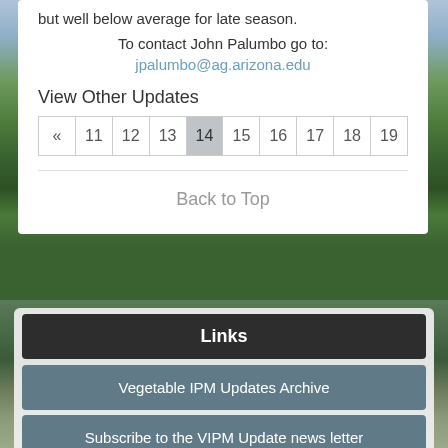but well below average for late season.
To contact John Palumbo go to: jpalumbo@ag.arizona.edu
View Other Updates
| « | 11 | 12 | 13 | 14 | 15 | 16 | 17 | 18 | 19 |
| --- | --- | --- | --- | --- | --- | --- | --- | --- | --- |
Back to Top
Links
Vegetable IPM Updates Archive
Subscribe to the VIPM Update news letter